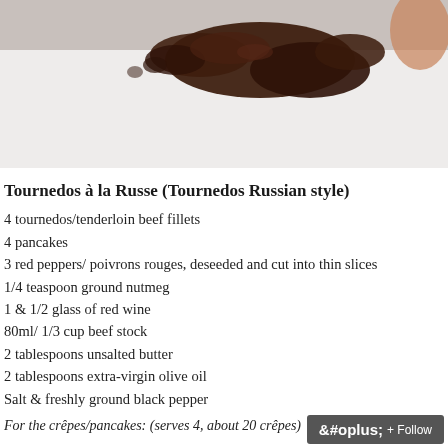[Figure (photo): Close-up photo of a dark brown sauce or meat liquid on a white plate surface, partial overhead view]
Tournedos à la Russe (Tournedos Russian style)
4 tournedos/tenderloin beef fillets
4 pancakes
3 red peppers/ poivrons rouges, deseeded and cut into thin slices
1/4 teaspoon ground nutmeg
1 & 1/2 glass of red wine
80ml/ 1/3 cup beef stock
2 tablespoons unsalted butter
2 tablespoons extra-virgin olive oil
Salt & freshly ground black pepper
For the crêpes/pancakes: (serves 4, about 20 crêpes)